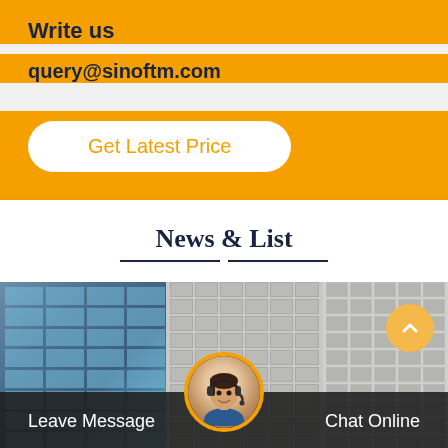Write us
query@sinoftm.com
Get Latest Price
News & List
[Figure (photo): Buildings/skyline background with customer service representative avatar at bottom center, scroll-to-top button on right, and Leave Message / Chat Online bar at bottom]
Leave Message
Chat Online